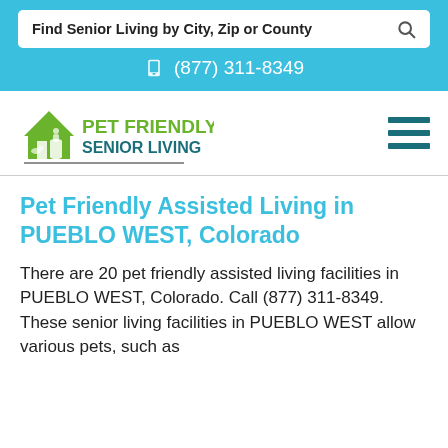Find Senior Living by City, Zip or County
(877) 311-8349
[Figure (logo): Pet Friendly Senior Living logo with green house icon and text]
Pet Friendly Assisted Living in PUEBLO WEST, Colorado
There are 20 pet friendly assisted living facilities in PUEBLO WEST, Colorado. Call (877) 311-8349. These senior living facilities in PUEBLO WEST allow various pets, such as